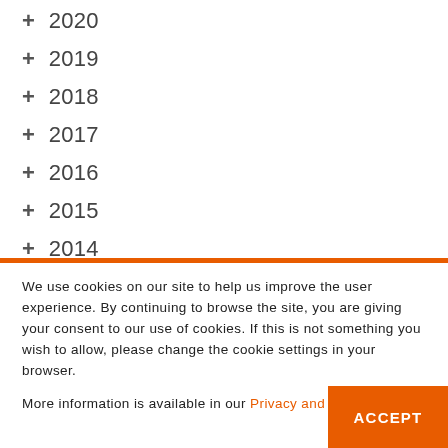+ 2020
+ 2019
+ 2018
+ 2017
+ 2016
+ 2015
+ 2014
We use cookies on our site to help us improve the user experience. By continuing to browse the site, you are giving your consent to our use of cookies. If this is not something you wish to allow, please change the cookie settings in your browser.
More information is available in our Privacy and Cookie Policy.